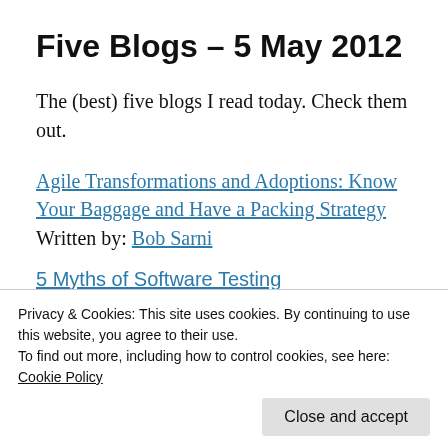Five Blogs – 5 May 2012
The (best) five blogs I read today. Check them out.
Agile Transformations and Adoptions: Know Your Baggage and Have a Packing Strategy
Written by: Bob Sarni
5 Myths of Software Testing
Privacy & Cookies: This site uses cookies. By continuing to use this website, you agree to their use.
To find out more, including how to control cookies, see here: Cookie Policy
Close and accept